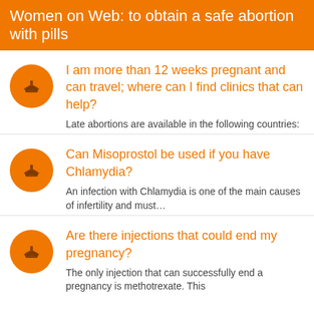Women on Web: to obtain a safe abortion with pills
I am more than 12 weeks pregnant and can travel; where can I find clinics that can help?
Late abortions are available in the following countries:
Can Misoprostol be used if you have Chlamydia?
An infection with Chlamydia is one of the main causes of infertility and must…
Are there injections that could end my pregnancy?
The only injection that can successfully end a pregnancy is methotrexate. This